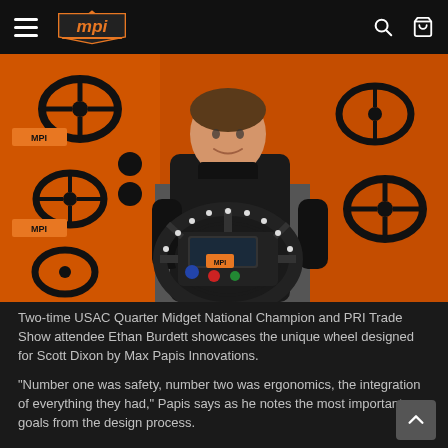MPI navigation bar with hamburger menu, MPI logo, search and cart icons
[Figure (photo): A young boy (Two-time USAC Quarter Midget National Champion Ethan Burdett) holding a racing steering wheel designed for Scott Dixon by Max Papis Innovations, standing in front of orange display panels showing various racing steering wheels at the PRI Trade Show.]
Two-time USAC Quarter Midget National Champion and PRI Trade Show attendee Ethan Burdett showcases the unique wheel designed for Scott Dixon by Max Papis Innovations.
"Number one was safety, number two was ergonomics, the integration of everything they had," Papis says as he notes the most important goals from the design process.